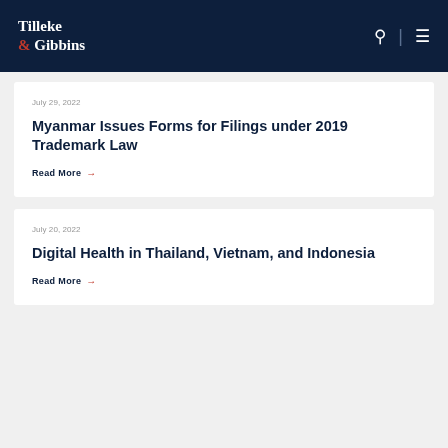Tilleke & Gibbins
July 29, 2022
Myanmar Issues Forms for Filings under 2019 Trademark Law
Read More →
July 20, 2022
Digital Health in Thailand, Vietnam, and Indonesia
Read More →